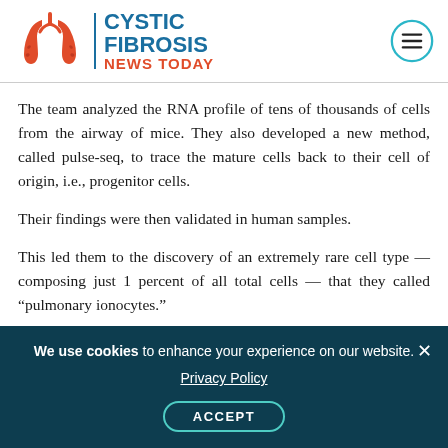CYSTIC FIBROSIS NEWS TODAY
The team analyzed the RNA profile of tens of thousands of cells from the airway of mice. They also developed a new method, called pulse-seq, to trace the mature cells back to their cell of origin, i.e., progenitor cells.
Their findings were then validated in human samples.
This led them to the discovery of an extremely rare cell type — composing just 1 percent of all total cells — that they called “pulmonary ionocytes.”
We use cookies to enhance your experience on our website. Privacy Policy ACCEPT